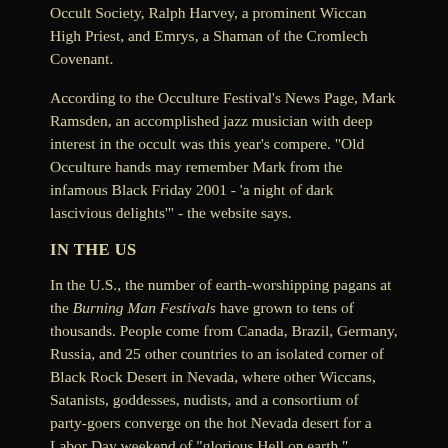Occult Society, Ralph Harvey, a prominent Wiccan High Priest, and Emrys, a Shaman of the Cromlech Covenant.
According to the Occulture Festival's News Page, Mark Ramsden, an accomplished jazz musician with deep interest in the occult was this year's compere. "Old Occulture hands may remember Mark from the infamous Black Friday 2001 - 'a night of dark lascivious delights'" - the website says.
IN THE US
In the U.S., the number of earth-worshipping pagans at the Burning Man Festivals have grown to tens of thousands. People come from Canada, Brazil, Germany, Russia, and 25 other countries to an isolated corner of Black Rock Desert in Nevada, where other Wiccans, Satanists, goddesses, nudists, and a consortium of party-goers converge on the hot Nevada desert for a Labor Day weekend of "glorious Hell on earth."
Recent Burning Man festivals included The Floating World, based on the New Age concept that "Reality is